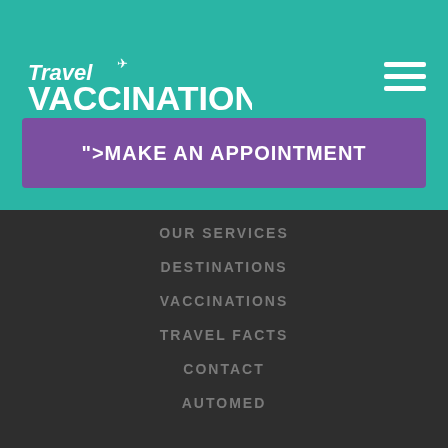[Figure (logo): Travel Vaccination Health Care logo with airplane icon on teal background]
">MAKE AN APPOINTMENT
OUR SERVICES
DESTINATIONS
VACCINATIONS
TRAVEL FACTS
CONTACT
AUTOMED
CONTACT US